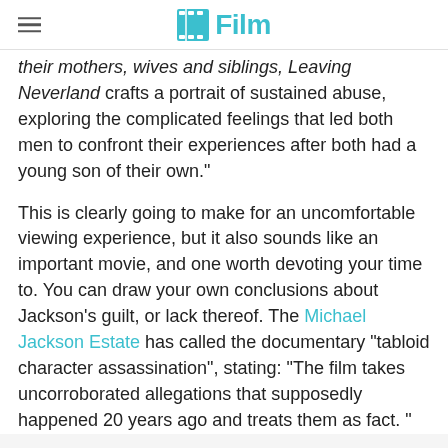/Film
their mothers, wives and siblings, Leaving Neverland crafts a portrait of sustained abuse, exploring the complicated feelings that led both men to confront their experiences after both had a young son of their own."
This is clearly going to make for an uncomfortable viewing experience, but it also sounds like an important movie, and one worth devoting your time to. You can draw your own conclusions about Jackson's guilt, or lack thereof. The Michael Jackson Estate has called the documentary "tabloid character assassination", stating: "The film takes uncorroborated allegations that supposedly happened 20 years ago and treats them as fact. "